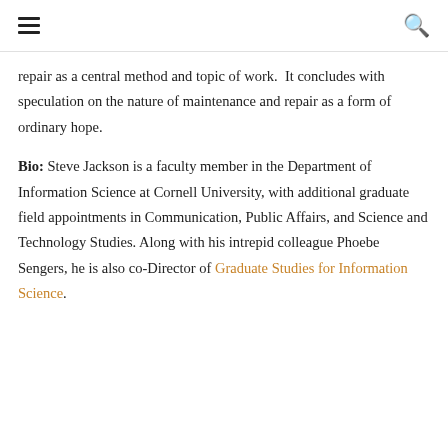[hamburger menu] [search icon]
repair as a central method and topic of work. It concludes with speculation on the nature of maintenance and repair as a form of ordinary hope.
Bio: Steve Jackson is a faculty member in the Department of Information Science at Cornell University, with additional graduate field appointments in Communication, Public Affairs, and Science and Technology Studies. Along with his intrepid colleague Phoebe Sengers, he is also co-Director of Graduate Studies for Information Science.
Dr. Jackson teaches and conducts research in